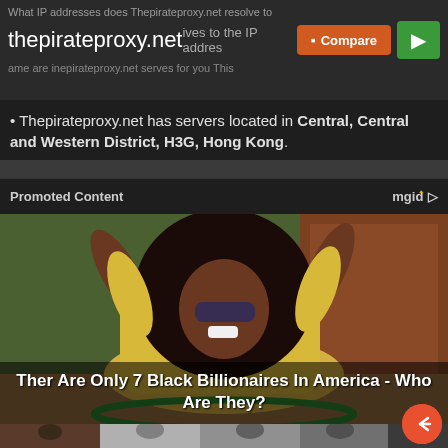thepirateproxy.net — What IP addresses does Thepirateproxy.net resolve to — Compare — Play
Thepirateproxy.net has servers located in Central, Central and Western District, H3G, Hong Kong.
Promoted Content — mgid
[Figure (photo): Woman in yellow top with large afro hair, wearing sunglasses, hands raised, outdoors. Overlay text: Ther Are Only 7 Black Billionaires In America - Who Are They?]
[Figure (photo): Bottom strip showing group of people, partially visible]
[Figure (other): Share/reply button (orange circle with arrow icon), bottom right]